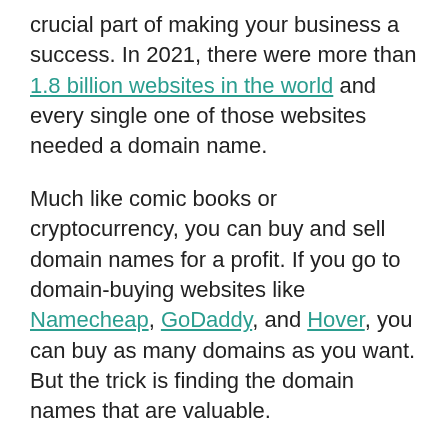crucial part of making your business a success. In 2021, there were more than 1.8 billion websites in the world and every single one of those websites needed a domain name.
Much like comic books or cryptocurrency, you can buy and sell domain names for a profit. If you go to domain-buying websites like Namecheap, GoDaddy, and Hover, you can buy as many domains as you want. But the trick is finding the domain names that are valuable.
There have been domains that have sold for nine figures—like Cars.com, which sold for $872 million – but these are few and far...